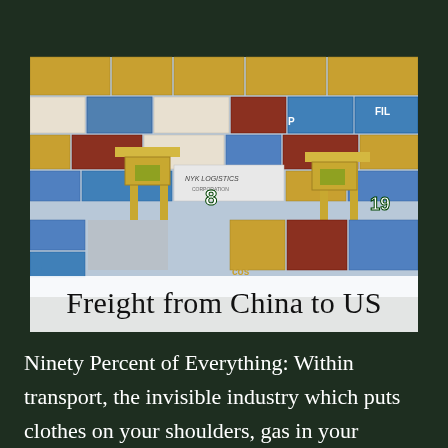[Figure (photo): Aerial view of a container shipping port with colorful stacked shipping containers (yellow/tan, blue, red, white) and large yellow container cranes numbered 8 and 19. White container marked 'NYK Logistics' visible in center.]
Freight from China to US
Ninety Percent of Everything: Within transport, the invisible industry which puts clothes on your shoulders, gas in your vehicle, and food. Although it is mostly hidden from the day-to